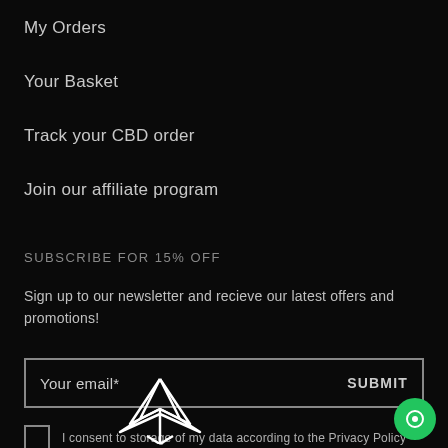My Orders
Your Basket
Track your CBD order
Join our affiliate program
SUBSCRIBE FOR 15% OFF
Sign up to our newsletter and recieve our latest offers and promotions!
Your email*	SUBMIT
I consent to storage of my data according to the Privacy Policy
[Figure (logo): White cannabis/hemp leaf logo outline at bottom center of page]
[Figure (other): Green circular chat button with white chat icon at bottom right]